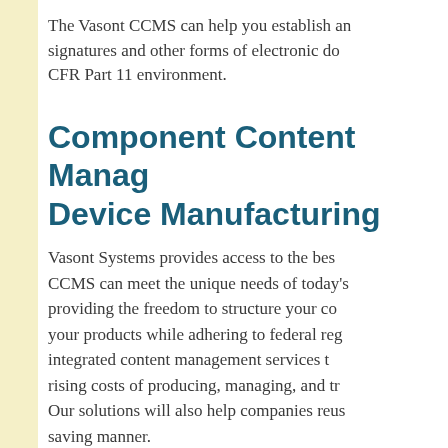The Vasont CCMS can help you establish an signatures and other forms of electronic do CFR Part 11 environment.
Component Content Manag Device Manufacturing
Vasont Systems provides access to the bes CCMS can meet the unique needs of today's providing the freedom to structure your co your products while adhering to federal reg integrated content management services t rising costs of producing, managing, and tr Our solutions will also help companies reus saving manner.